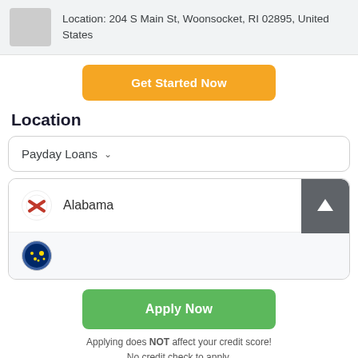Location: 204 S Main St, Woonsocket, RI 02895, United States
[Figure (other): Yellow 'Get Started Now' button]
Location
[Figure (other): Payday Loans dropdown selector]
[Figure (other): State list showing Alabama with flag and scroll-up button, partial Alaska flag below]
[Figure (other): Green 'Apply Now' button]
Applying does NOT affect your credit score! No credit check to apply.